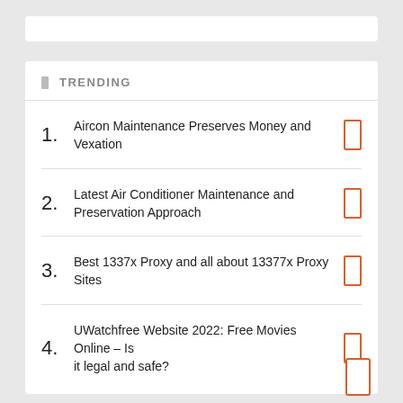TRENDING
Aircon Maintenance Preserves Money and Vexation
Latest Air Conditioner Maintenance and Preservation Approach
Best 1337x Proxy and all about 13377x Proxy Sites
UWatchfree Website 2022: Free Movies Online – Is it legal and safe?